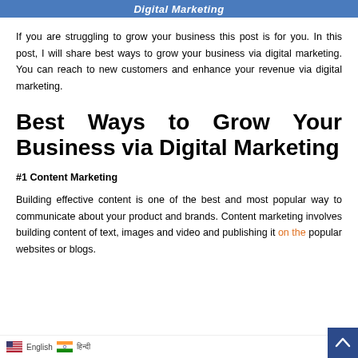Digital Marketing
If you are struggling to grow your business this post is for you. In this post, I will share best ways to grow your business via digital marketing. You can reach to new customers and enhance your revenue via digital marketing.
Best Ways to Grow Your Business via Digital Marketing
#1 Content Marketing
Building effective content is one of the best and most popular way to communicate about your product and brands. Content marketing involves building content of text, images and video and publishing it on the popular websites or blogs.
English | हिन्दी